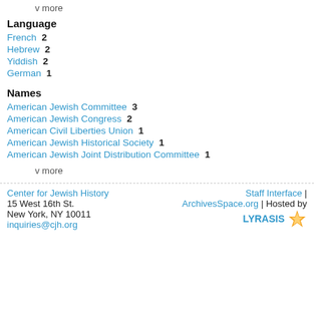v more
Language
French  2
Hebrew  2
Yiddish  2
German  1
Names
American Jewish Committee  3
American Jewish Congress  2
American Civil Liberties Union  1
American Jewish Historical Society  1
American Jewish Joint Distribution Committee  1
v more
Center for Jewish History | 15 West 16th St. | New York, NY 10011 | inquiries@cjh.org | Staff Interface | ArchivesSpace.org | Hosted by LYRASIS